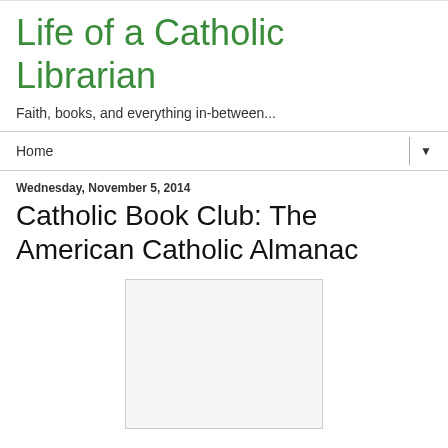Life of a Catholic Librarian
Faith, books, and everything in-between...
Home
Wednesday, November 5, 2014
Catholic Book Club: The American Catholic Almanac
[Figure (other): Book cover image placeholder — white/light gray rectangle with border]